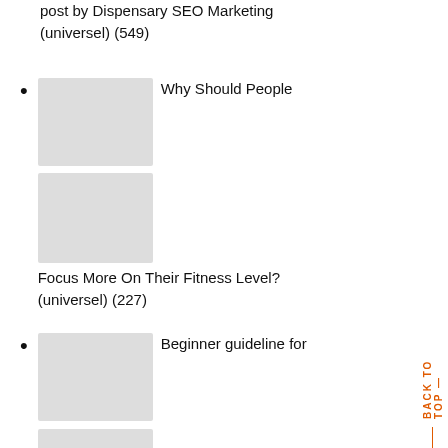post by Dispensary SEO Marketing (universel) (549)
Why Should People Focus More On Their Fitness Level? (universel) (227)
Beginner guideline for CBD and CBD Toothpicks (waseem fazal) (144)